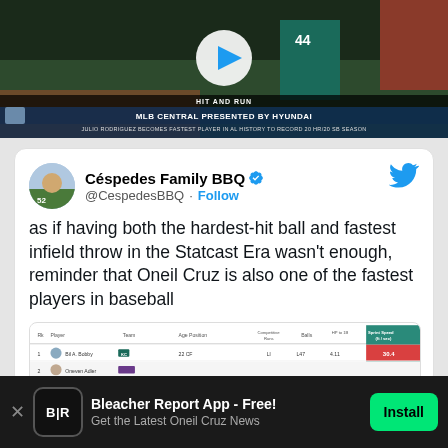[Figure (screenshot): Video thumbnail of MLB baseball game with play button overlay. Bottom bar shows 'HIT AND RUN', 'MLB CENTRAL PRESENTED BY HYUNDAI', and 'JULIO RODRIGUEZ BECOMES FASTEST PLAYER IN AL HISTORY TO RECORD 20 HR/20 SB SEASON']
[Figure (screenshot): Tweet from Céspedes Family BBQ (@CespedesBBQ) with blue verified checkmark and Follow link. Tweet text reads: 'as if having both the hardest-hit ball and fastest infield throw in the Statcast Era wasn't enough, reminder that Oneil Cruz is also one of the fastest players in baseball'. Below is a partial screenshot of a statistics table.]
as if having both the hardest-hit ball and fastest infield throw in the Statcast Era wasn't enough, reminder that Oneil Cruz is also one of the fastest players in baseball
[Figure (table-as-image): Partial view of a statistics table with columns including player name, team, age, position, competitive runs, balls, and sprint speed. Teal highlighted column for sprint speed. Two player rows partially visible.]
Bleacher Report App - Free!
Get the Latest Oneil Cruz News